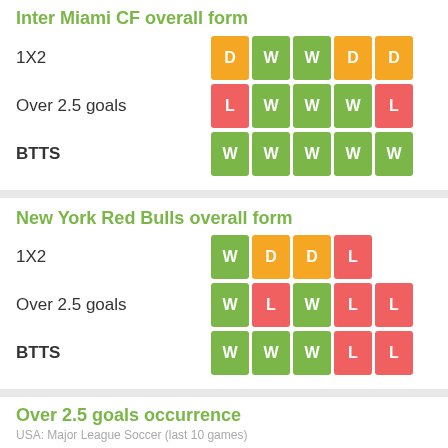Inter Miami CF overall form
|  | 1 | 2 | 3 | 4 | 5 |
| --- | --- | --- | --- | --- | --- |
| 1X2 | D | W | W | D | D |
| Over 2.5 goals | L | W | W | W | L |
| BTTS | W | W | W | W | W |
New York Red Bulls overall form
|  | 1 | 2 | 3 | 4 |
| --- | --- | --- | --- | --- |
| 1X2 | W | D | D | L |
| Over 2.5 goals | W | L | W | L | L |
| BTTS | W | W | W | L | L |
Over 2.5 goals occurrence
USA: Major League Soccer (last 10 games)